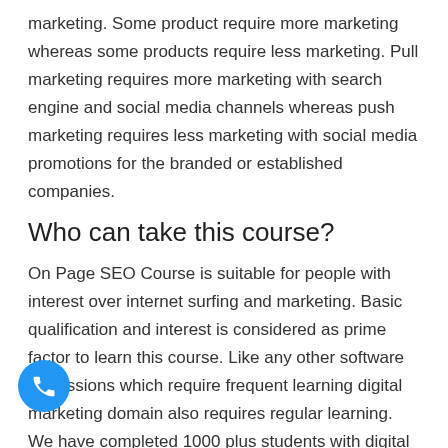marketing. Some product require more marketing whereas some products require less marketing. Pull marketing requires more marketing with search engine and social media channels whereas push marketing requires less marketing with social media promotions for the branded or established companies.
Who can take this course?
On Page SEO Course is suitable for people with interest over internet surfing and marketing. Basic qualification and interest is considered as prime factor to learn this course. Like any other software professions which require frequent learning digital marketing domain also requires regular learning. We have completed 1000 plus students with digital marketing certification so far and travelling with the different needs of the learners. As a pioneer computer training institute we offer the best On-Page Online Training to bridge the gap between knowledge and practical knowledge.